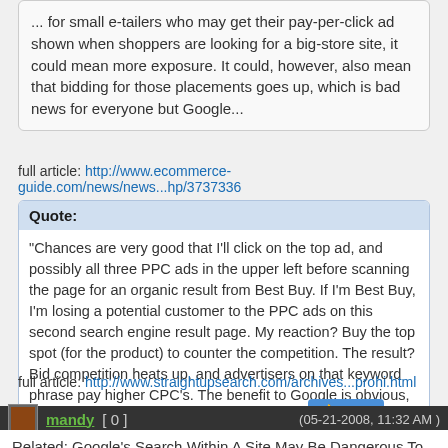... for small e-tailers who may get their pay-per-click ad shown when shoppers are looking for a big-store site, it could mean more exposure. It could, however, also mean that bidding for those placements goes up, which is bad news for everyone but Google...
full article: http://www.ecommerce-guide.com/news/news...hp/3737336
Quote: "Chances are very good that I'll click on the top ad, and possibly all three PPC ads in the upper left before scanning the page for an organic result from Best Buy. If I'm Best Buy, I'm losing a potential customer to the PPC ads on this second search engine result page. My reaction? Buy the top spot (for the product) to counter the competition. The result? Bid competition heats up, and advertisers on that keyword phrase pay higher CPC's. The benefit to Google is obvious, as is the detriment to Best Buy."...
full article: http://www.straightupsearch.com/archives...prohi.html
mandy [ 0 ] (05-21-2008, 11:32 AM)
Related: Google's Search Within A Site May Be Dangerous To Some